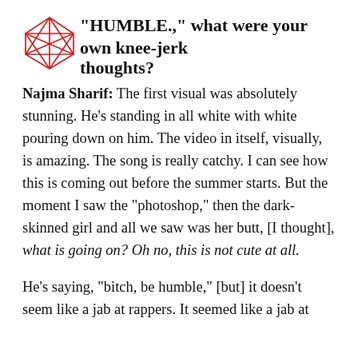“HUMBLE.,” what were your own knee-jerk thoughts?
Najma Sharif: The first visual was absolutely stunning. He’s standing in all white with white pouring down on him. The video in itself, visually, is amazing. The song is really catchy. I can see how this is coming out before the summer starts. But the moment I saw the “photoshop,” then the dark-skinned girl and all we saw was her butt, [I thought], what is going on? Oh no, this is not cute at all.
He’s saying, “bitch, be humble,” [but] it doesn’t seem like a jab at rappers. It seemed like a jab at